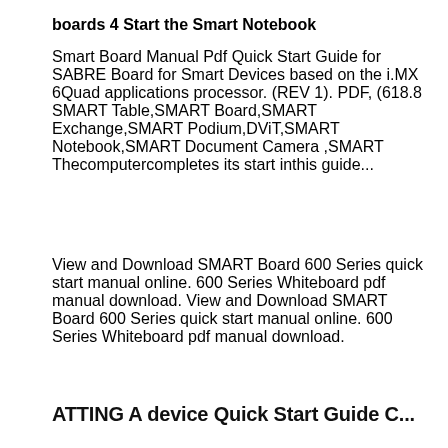boards 4 Start the Smart Notebook
Smart Board Manual Pdf Quick Start Guide for SABRE Board for Smart Devices based on the i.MX 6Quad applications processor. (REV 1). PDF, (618.8 SMART Table,SMART Board,SMART Exchange,SMART Podium,DViT,SMART Notebook,SMART Document Camera ,SMART Thecomputercompletes its start inthis guide...
View and Download SMART Board 600 Series quick start manual online. 600 Series Whiteboard pdf manual download. View and Download SMART Board 600 Series quick start manual online. 600 Series Whiteboard pdf manual download.
ATTING A device Quick Start Guide C...